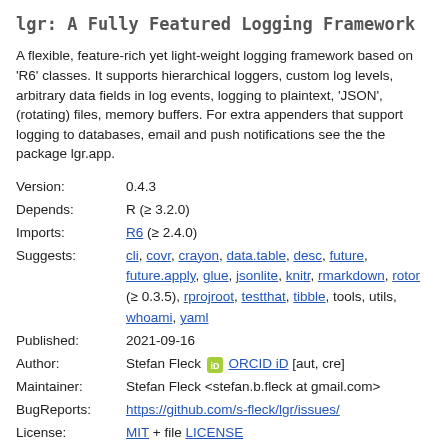lgr: A Fully Featured Logging Framework
A flexible, feature-rich yet light-weight logging framework based on 'R6' classes. It supports hierarchical loggers, custom log levels, arbitrary data fields in log events, logging to plaintext, 'JSON', (rotating) files, memory buffers. For extra appenders that support logging to databases, email and push notifications see the the package lgr.app.
| Field | Value |
| --- | --- |
| Version: | 0.4.3 |
| Depends: | R (≥ 3.2.0) |
| Imports: | R6 (≥ 2.4.0) |
| Suggests: | cli, covr, crayon, data.table, desc, future, future.apply, glue, jsonlite, knitr, rmarkdown, rotor (≥ 0.3.5), rprojroot, testthat, tibble, tools, utils, whoami, yaml |
| Published: | 2021-09-16 |
| Author: | Stefan Fleck [ORCID iD] [aut, cre] |
| Maintainer: | Stefan Fleck <stefan.b.fleck at gmail.com> |
| BugReports: | https://github.com/s-fleck/lgr/issues/ |
| License: | MIT + file LICENSE |
| URL: | https://s-fleck.github.io/lgr/ |